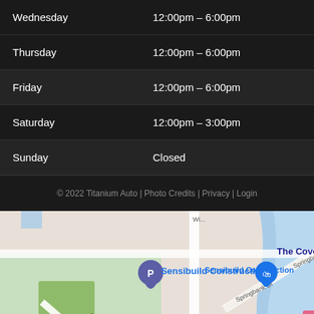| Day | Hours |
| --- | --- |
| Wednesday | 12:00pm – 6:00pm |
| Thursday | 12:00pm – 6:00pm |
| Friday | 12:00pm – 6:00pm |
| Saturday | 12:00pm – 3:00pm |
| Sunday | Closed |
© 2022 Titanium Auto | Photo Credits | Privacy | Login
[Figure (map): Google Maps view showing Kensal Park, Sensibuild Construction, The Cove, Aquafit Physiotherapy Clinic, Empire Auto, with streets Malcolm St, Doma St, Springbank Dr visible.]